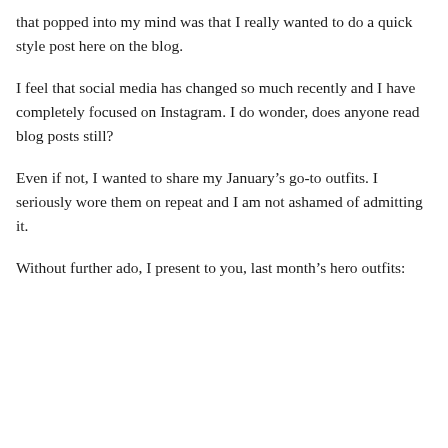that popped into my mind was that I really wanted to do a quick style post here on the blog.
I feel that social media has changed so much recently and I have completely focused on Instagram. I do wonder, does anyone read blog posts still?
Even if not, I wanted to share my January’s go-to outfits. I seriously wore them on repeat and I am not ashamed of admitting it.
Without further ado, I present to you, last month’s hero outfits: